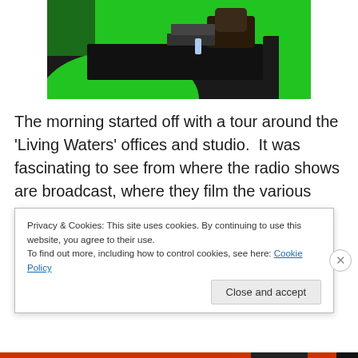[Figure (photo): A person sitting at a dark desk with a laptop in a TV studio with a bright green screen background]
The morning started off with a tour around the ‘Living Waters’ offices and studio.  It was fascinating to see from where the radio shows are broadcast, where they film the various Living Waters and The Way of the Master TV programs and to see and understand the background processes that are involved in producing the programs
Privacy & Cookies: This site uses cookies. By continuing to use this website, you agree to their use.
To find out more, including how to control cookies, see here: Cookie Policy
Close and accept